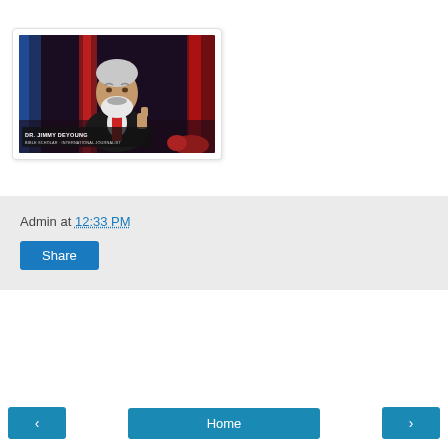[Figure (screenshot): Video thumbnail of Dr. Jimmy DeYoung, Bible Scholar - International Journalist, appearing on a TV broadcast with a dark studio background featuring red and blue vertical lighting elements.]
Admin at 12:33 PM
Share
‹
Home
›